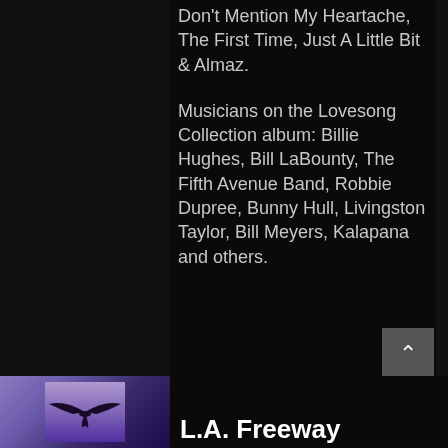Don't Mention My Heartache, The First Time, Just A Little Bit & Almaz.
Musicians on the Lovesong Collection album: Billie Hughes, Bill LaBounty, The Fifth Avenue Band, Robbie Dupree, Bunny Hull, Livingston Taylor, Bill Meyers, Kalapana and others.
[Figure (illustration): Album thumbnail showing a bird silhouette against a purple/violet sky background]
L.A. Freeway